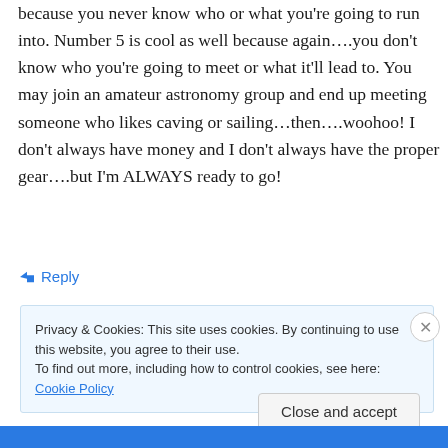because you never know who or what you're going to run into. Number 5 is cool as well because again….you don't know who you're going to meet or what it'll lead to. You may join an amateur astronomy group and end up meeting someone who likes caving or sailing…then….woohoo! I don't always have money and I don't always have the proper gear….but I'm ALWAYS ready to go!
↪ Reply
Privacy & Cookies: This site uses cookies. By continuing to use this website, you agree to their use. To find out more, including how to control cookies, see here: Cookie Policy
Close and accept